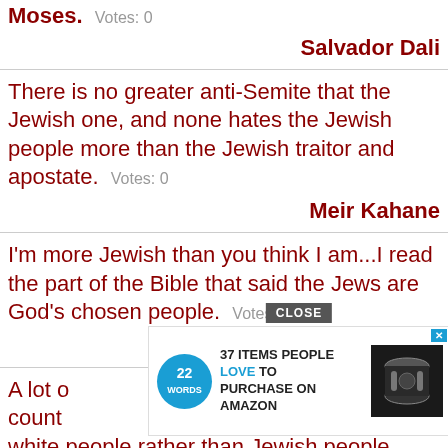Moses.  Votes: 0
Salvador Dali
There is no greater anti-Semite that the Jewish one, and none hates the Jewish people more than the Jewish traitor and apostate.  Votes: 0
Meir Kahane
I'm more Jewish than you think I am...I read the part of the Bible that said the Jews are God's chosen people.  Votes: 0
Rick Perry
A lot of ... his country ... like white people rather than Jewish people.  Votes: 0
[Figure (other): Advertisement overlay: 22 Words logo with text '37 ITEMS PEOPLE LOVE TO PURCHASE ON AMAZON' and a headphones product image with a CLOSE button]